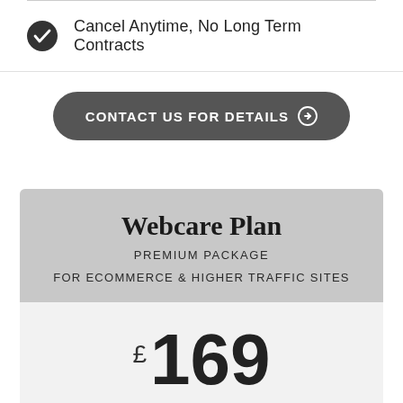Cancel Anytime, No Long Term Contracts
CONTACT US FOR DETAILS →
Webcare Plan
PREMIUM PACKAGE
FOR ECOMMERCE & HIGHER TRAFFIC SITES
£169 Monthly